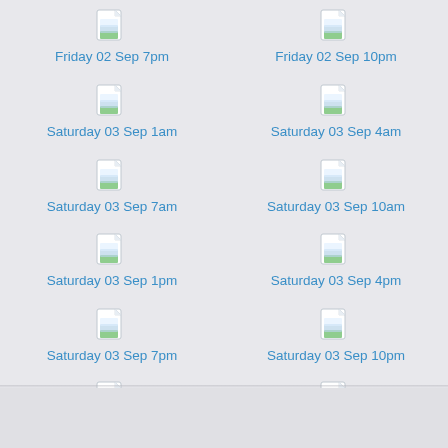[Figure (other): File icon for weather forecast]
Friday 02 Sep 7pm
[Figure (other): File icon for weather forecast]
Friday 02 Sep 10pm
[Figure (other): File icon for weather forecast]
Saturday 03 Sep 1am
[Figure (other): File icon for weather forecast]
Saturday 03 Sep 4am
[Figure (other): File icon for weather forecast]
Saturday 03 Sep 7am
[Figure (other): File icon for weather forecast]
Saturday 03 Sep 10am
[Figure (other): File icon for weather forecast]
Saturday 03 Sep 1pm
[Figure (other): File icon for weather forecast]
Saturday 03 Sep 4pm
[Figure (other): File icon for weather forecast]
Saturday 03 Sep 7pm
[Figure (other): File icon for weather forecast]
Saturday 03 Sep 10pm
[Figure (other): File icon for weather forecast]
Sunday 04 Sep 1am
[Figure (other): File icon for weather forecast]
Sunday 04 Sep 4am